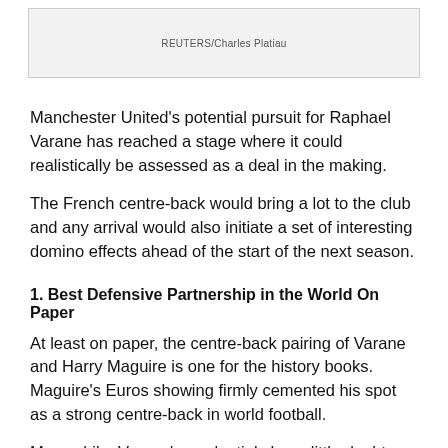[Figure (photo): Image placeholder with REUTERS/Charles Platiau credit]
REUTERS/Charles Platiau
Manchester United's potential pursuit for Raphael Varane has reached a stage where it could realistically be assessed as a deal in the making.
The French centre-back would bring a lot to the club and any arrival would also initiate a set of interesting domino effects ahead of the start of the next season.
1. Best Defensive Partnership in the World On Paper
At least on paper, the centre-back pairing of Varane and Harry Maguire is one for the history books. Maguire's Euros showing firmly cemented his spot as a strong centre-back in world football.
Meanwhile, Varane's credentials have little doubt. However, it is yet far from certain as to just how